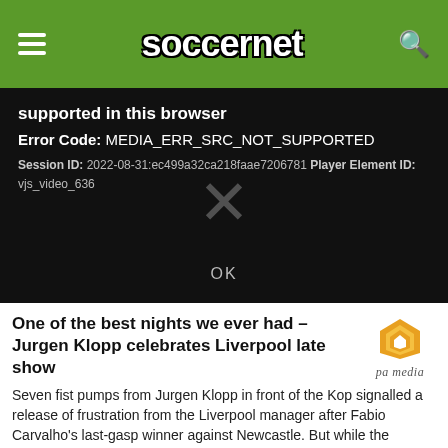soccernet
[Figure (screenshot): Video player error dialog on black background. Shows error title 'supported in this browser', Error Code: MEDIA_ERR_SRC_NOT_SUPPORTED, Session ID: 2022-08-31:ec499a32ca218faae7206781 Player Element ID: vjs_video_636. Large X dismiss icon in center. OK button at bottom.]
One of the best nights we ever had – Jurgen Klopp celebrates Liverpool late show
Seven fist pumps from Jurgen Klopp in front of the Kop signalled a release of frustration from the Liverpool manager after Fabio Carvalho's last-gasp winner against Newcastle. But while the German described the 2-1 Premier Leagu...